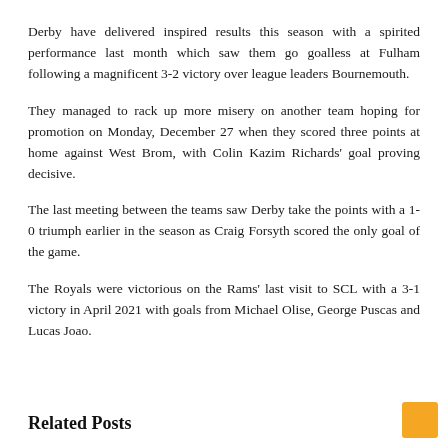Derby have delivered inspired results this season with a spirited performance last month which saw them go goalless at Fulham following a magnificent 3-2 victory over league leaders Bournemouth.
They managed to rack up more misery on another team hoping for promotion on Monday, December 27 when they scored three points at home against West Brom, with Colin Kazim Richards' goal proving decisive.
The last meeting between the teams saw Derby take the points with a 1-0 triumph earlier in the season as Craig Forsyth scored the only goal of the game.
The Royals were victorious on the Rams' last visit to SCL with a 3-1 victory in April 2021 with goals from Michael Olise, George Puscas and Lucas Joao.
Related Posts